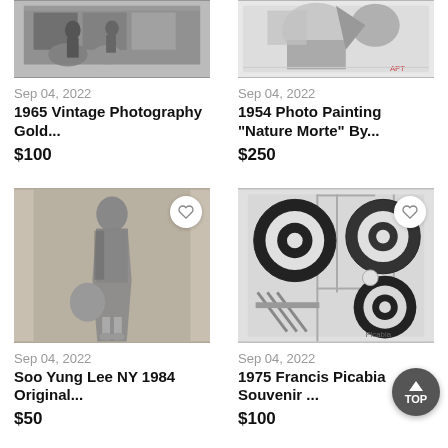[Figure (photo): Black and white vintage photograph showing people and picture frames]
Sep 04, 2022
1965 Vintage Photography Gold...
$100
[Figure (photo): Abstract art painting Nature Morte with colorful shapes]
Sep 04, 2022
1954 Photo Painting "Nature Morte" By...
$250
[Figure (photo): Black and white fashion photo of a woman in flowing dress carrying a bag]
Sep 04, 2022
Soo Yung Lee NY 1984 Original...
$50
[Figure (photo): Abstract geometric artwork with black and white concentric circles by Francis Picabia]
Sep 04, 2022
1975 Francis Picabia Souvenir ...
$100